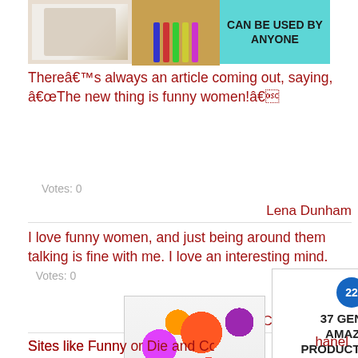[Figure (other): Advertisement banner with images of baked goods and pencils/markers on teal background with text 'CAN BE USED BY ANYONE']
Thereâs always an article coming out, saying, âThe new thing is funny women!â
Votes: 0
Lena Dunham
I love funny women, and just being around them talking is fine with me. I love an interesting mind.   Votes: 0
Curtis Jackson
Sites like Funny or Die and College Humor are great, and 2
[Figure (other): Advertisement showing colorful scrunchies with product listing]
[Figure (other): Advertisement: 22 - 37 GENIUS AMAZON PRODUCTS THAT CAN BE USED BY ANYONE]
[Figure (other): Oral-B Vitality electric toothbrush advertisement with CLOSE button]
hanel